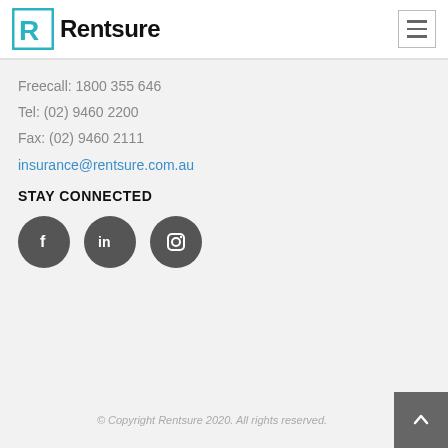[Figure (logo): Rentsure logo with teal R icon and bold black text]
Freecall: 1800 355 646
Tel: (02) 9460 2200
Fax: (02) 9460 2111
insurance@rentsure.com.au
STAY CONNECTED
[Figure (illustration): Three dark grey social media icon circles: Facebook (f), LinkedIn (in), Instagram (camera)]
© Copyright Rentsure 2020. All rights reserved.